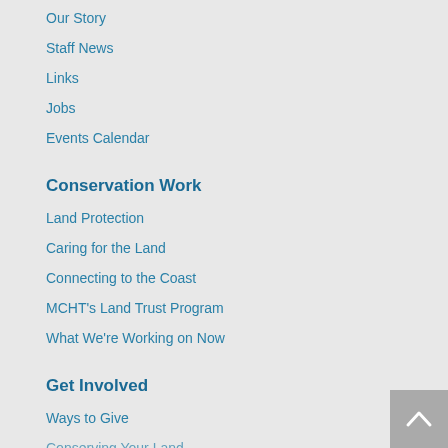Our Story
Staff News
Links
Jobs
Events Calendar
Conservation Work
Land Protection
Caring for the Land
Connecting to the Coast
MCHT's Land Trust Program
What We're Working on Now
Get Involved
Ways to Give
Conserving Your Land